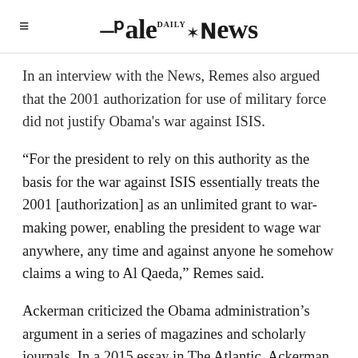Yale Daily News
In an interview with the News, Remes also argued that the 2001 authorization for use of military force did not justify Obama's war against ISIS.
“For the president to rely on this authority as the basis for the war against ISIS essentially treats the 2001 [authorization] as an unlimited grant to war-making power, enabling the president to wage war anywhere, any time and against anyone he somehow claims a wing to Al Qaeda,” Remes said.
Ackerman criticized the Obama administration’s argument in a series of magazines and scholarly journals. In a 2015 essay in The Atlantic, Ackerman claimed that “the biggest